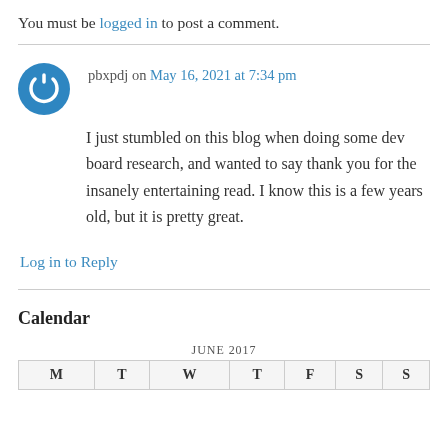You must be logged in to post a comment.
pbxpdj on May 16, 2021 at 7:34 pm
I just stumbled on this blog when doing some dev board research, and wanted to say thank you for the insanely entertaining read. I know this is a few years old, but it is pretty great.
Log in to Reply
Calendar
| M | T | W | T | F | S | S |
| --- | --- | --- | --- | --- | --- | --- |